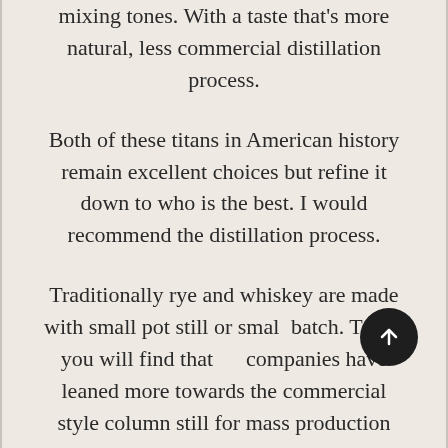mixing tones. With a taste that's more natural, less commercial distillation process.
Both of these titans in American history remain excellent choices but refine it down to who is the best. I would recommend the distillation process.
Traditionally rye and whiskey are made with small pot still or small batch. Today you will find that companies have leaned more towards the commercial style column still for mass production and